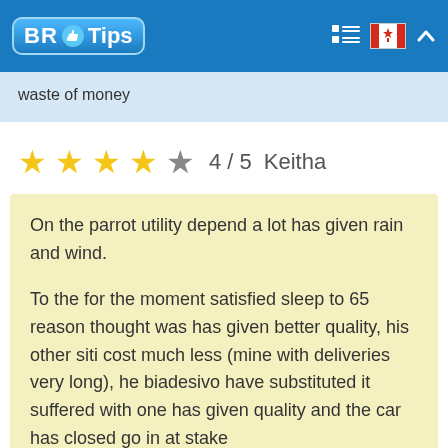BR Tips
waste of money
★★★★☆ 4 / 5   Keitha
On the parrot utility depend a lot has given rain and wind.

To the for the moment satisfied sleep to 65 reason thought was has given better quality, his other siti cost much less (mine with deliveries very long), he biadesivo have substituted it suffered with one has given quality and the car has closed go in at stake